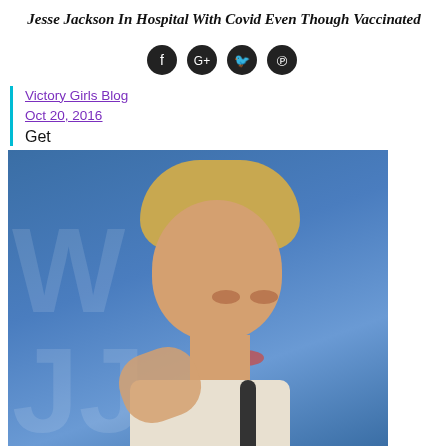Jesse Jackson In Hospital With Covid Even Though Vaccinated
[Figure (other): Social media share icons: Facebook, Google+, Twitter, Pinterest — four dark circular buttons]
Victory Girls Blog
Oct 20, 2016
Get
[Figure (photo): Photograph of a blonde woman speaking at a podium/debate, raising her hand, against a blue background. Video frame from what appears to be a debate.]